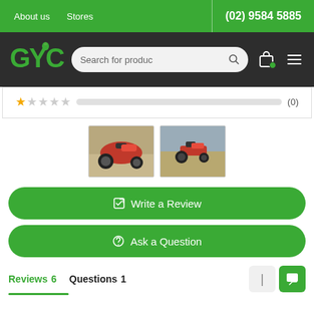About us  Stores  (02) 9584 5885
[Figure (logo): GYC green logo with leaf icon on dark background, with search bar and navigation icons]
[Figure (other): 1-star rating row with empty bar and (0) count]
[Figure (photo): Two product thumbnail photos of a red ride-on lawn mower in a field]
✏ Write a Review
💬 Ask a Question
Reviews  6    Questions  1